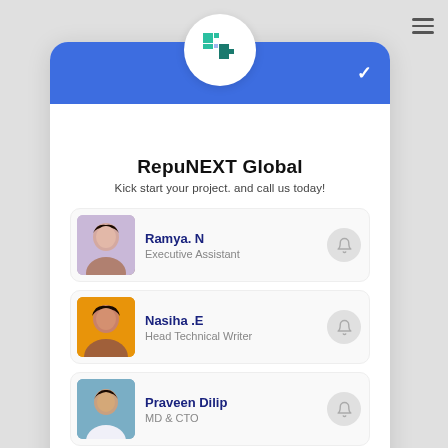[Figure (screenshot): RepuNEXT Global contact/team card UI with blue header, company logo, and four employee contact rows each with photo, name, title, and bell icon]
RepuNEXT Global
Kick start your project. and call us today!
Ramya. N — Executive Assistant
Nasiha .E — Head Technical Writer
Praveen Dilip — MD & CTO
Andrew Stevens — Sales Director